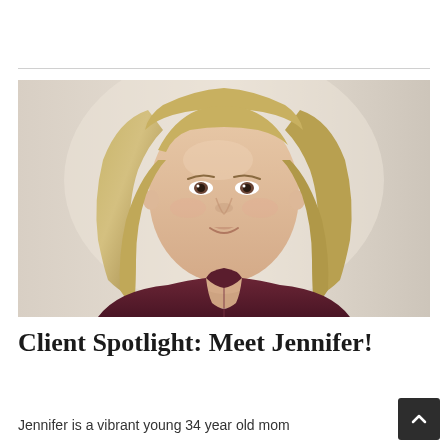[Figure (photo): Portrait photo of Jennifer, a young blonde woman wearing a dark maroon/burgundy turtleneck top, photographed against a light beige background. She has straight shoulder-length blonde hair and is looking directly at the camera.]
Client Spotlight: Meet Jennifer!
Jennifer is a vibrant young 34 year old mom